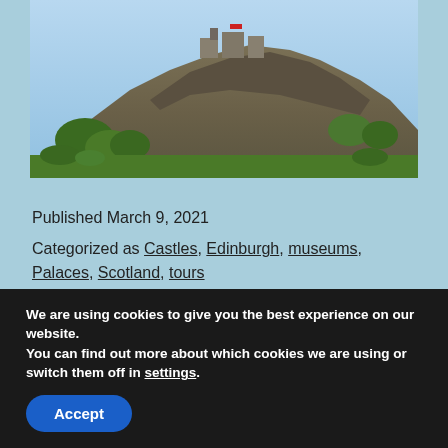[Figure (photo): Photograph of Edinburgh Castle on volcanic rock with green trees in foreground, viewed from below against a bright sky.]
Published March 9, 2021
Categorized as Castles, Edinburgh, museums, Palaces, Scotland, tours
Tagged 1 pm, cannon, castle, edinburgh, mons meg, plug, tattoo, tours, volcanic
We are using cookies to give you the best experience on our website.
You can find out more about which cookies we are using or switch them off in settings.
Accept